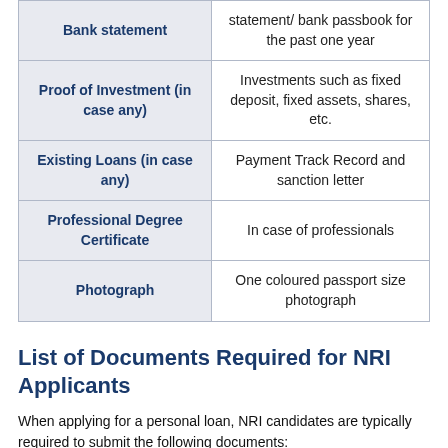| Document | Details |
| --- | --- |
| Bank statement | statement/ bank passbook for the past one year |
| Proof of Investment (in case any) | Investments such as fixed deposit, fixed assets, shares, etc. |
| Existing Loans (in case any) | Payment Track Record and sanction letter |
| Professional Degree Certificate | In case of professionals |
| Photograph | One coloured passport size photograph |
List of Documents Required for NRI Applicants
When applying for a personal loan, NRI candidates are typically required to submit the following documents: